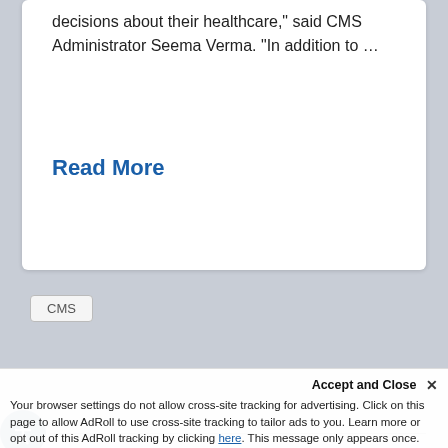decisions about their healthcare,” said CMS Administrator Seema Verma. “In addition to …
Read More
CMS
[Figure (logo): Medicare.gov logo with Medicare in green and .gov in dark blue]
Prevent osteoporosis
Many people don’t know they have osteo… can help you prevent or detect osteoporosis at an…
Accept and Close ×
Your browser settings do not allow cross-site tracking for advertising. Click on this page to allow AdRoll to use cross-site tracking to tailor ads to you. Learn more or opt out of this AdRoll tracking by clicking here. This message only appears once.